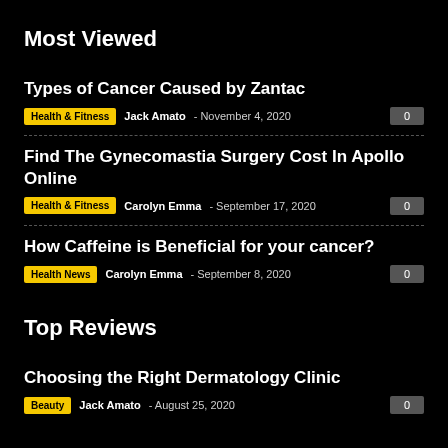Most Viewed
Types of Cancer Caused by Zantac
Health & Fitness  Jack Amato - November 4, 2020  0
Find The Gynecomastia Surgery Cost In Apollo Online
Health & Fitness  Carolyn Emma - September 17, 2020  0
How Caffeine is Beneficial for your cancer?
Health News  Carolyn Emma - September 8, 2020  0
Top Reviews
Choosing the Right Dermatology Clinic
Beauty  Jack Amato - August 25, 2020  0